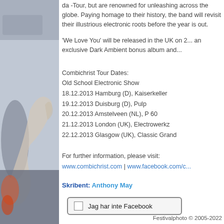[Figure (photo): Left side photo of a person at a concert, partially visible, with hand raised]
da -Tour, but are renowned for unleashing across the globe. Paying homage to their history, the band will revisit their illustrious electronic roots before the year is out.
'We Love You' will be released in the UK on 2... an exclusive Dark Ambient bonus album and...
Combichrist Tour Dates:
Old School Electronic Show
18.12.2013 Hamburg (D), Kaiserkeller
19.12.2013 Duisburg (D), Pulp
20.12.2013 Amstelveen (NL), P 60
21.12.2013 London (UK), Electrowerkz
22.12.2013 Glasgow (UK), Classic Grand
For further information, please visit:
www.combichrist.com | www.facebook.com/c...
Skribent: Anthony May
Jag har inte Facebook
Festivalphoto © 2005-2022